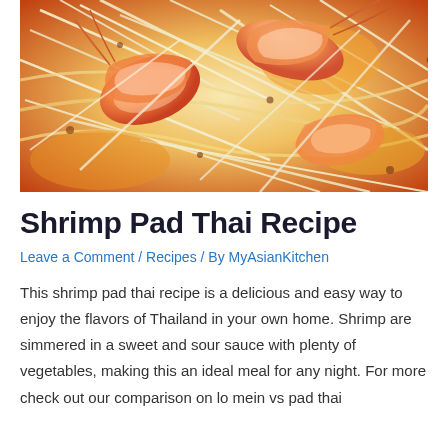[Figure (photo): Close-up photo of shrimp pad thai dish with shrimp, bean sprouts, rice noodles, and vegetables on a white plate]
Shrimp Pad Thai Recipe
Leave a Comment / Recipes / By MyAsianKitchen
This shrimp pad thai recipe is a delicious and easy way to enjoy the flavors of Thailand in your own home. Shrimp are simmered in a sweet and sour sauce with plenty of vegetables, making this an ideal meal for any night. For more check out our comparison on lo mein vs pad thai